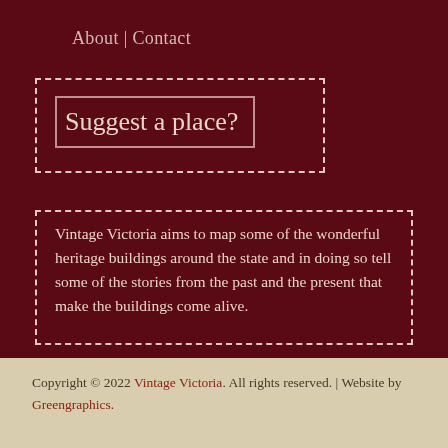About | Contact
Suggest a place?
Vintage Victoria aims to map some of the wonderful heritage buildings around the state and in doing so tell some of the stories from the past and the present that make the buildings come alive.
Copyright © 2022 Vintage Victoria. All rights reserved. | Website by Greengraphics.